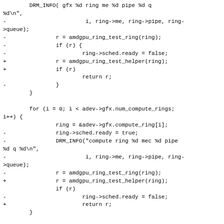Code diff showing amdgpu ring test changes: replacing amdgpu_ring_test_ring with amdgpu_ring_test_helper, removing sched.ready assignments, for gfx rings and compute rings loops, ending with return 0 and -- 2.22.0